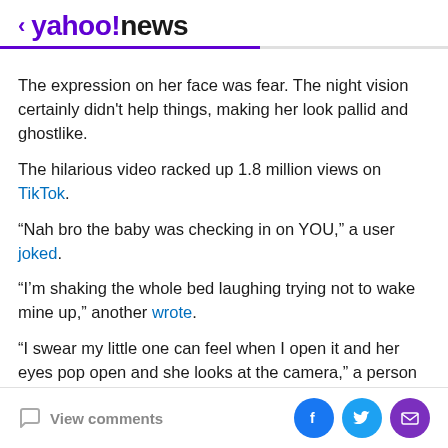< yahoo!news
The expression on her face was fear. The night vision certainly didn't help things, making her look pallid and ghostlike.
The hilarious video racked up 1.8 million views on TikTok.
“Nah bro the baby was checking in on YOU,” a user joked.
“I’m shaking the whole bed laughing trying not to wake mine up,” another wrote.
“I swear my little one can feel when I open it and her eyes pop open and she looks at the camera,” a person said.
View comments | Facebook | Twitter | Email